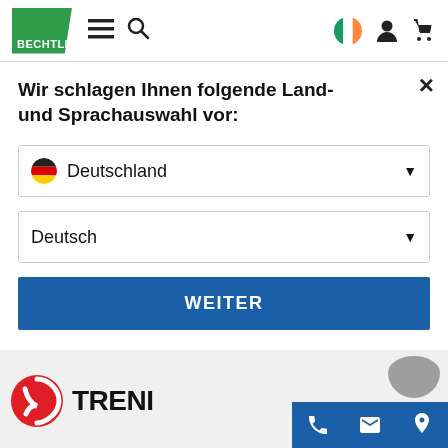Bechtle header navigation with logo, menu, search, Ireland flag, user and cart icons
×
Wir schlagen Ihnen folgende Land- und Sprachauswahl vor:
Deutschland
Deutsch
WEITER
[Figure (logo): Trend Micro logo partially visible at bottom of page]
[Figure (other): Blue action bar with phone, email and location icons at bottom right]